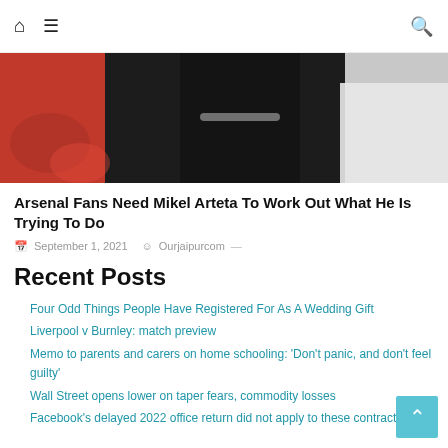Home | Menu | Search
[Figure (photo): Partial photo of a person in black athletic wear against a white and reddish background]
Arsenal Fans Need Mikel Arteta To Work Out What He Is Trying To Do
September 1, 2021  Ourjaipurcom —
Recent Posts
Four Odd Things People Have Registered For As A Wedding Gift
Liverpool v Burnley: match preview
Memo to parents and carers on home schooling: 'Don't panic, and don't feel guilty'
Wall Street opens lower on taper fears, commodity losses
Facebook's delayed 2022 office return did not apply to these contractors